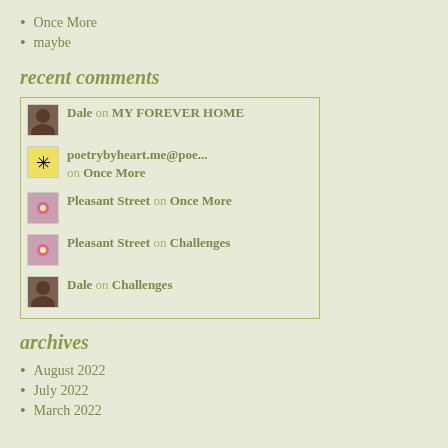Once More
maybe
recent comments
| Dale on MY FOREVER HOME |
| poetrybyheart.me@poe... on Once More |
| Pleasant Street on Once More |
| Pleasant Street on Challenges |
| Dale on Challenges |
archives
August 2022
July 2022
March 2022